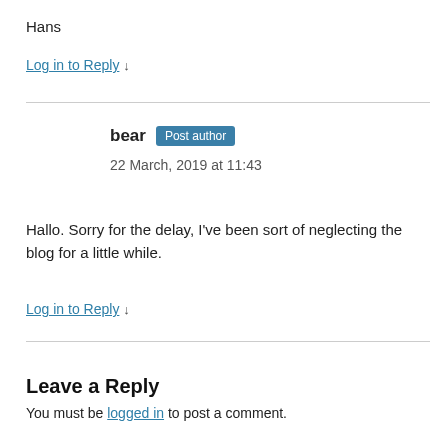Hans
Log in to Reply ↓
bear Post author
22 March, 2019 at 11:43
Hallo. Sorry for the delay, I've been sort of neglecting the blog for a little while.
Log in to Reply ↓
Leave a Reply
You must be logged in to post a comment.